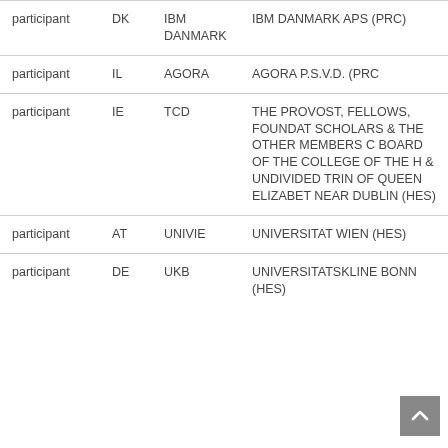| participant | DK | IBM DANMARK | IBM DANMARK APS (PRC) |
| participant | IL | AGORA | AGORA P.S.V.D. (PRC |
| participant | IE | TCD | THE PROVOST, FELLOWS, FOUNDAT SCHOLARS & THE OTHER MEMBERS C BOARD OF THE COLLEGE OF THE H & UNDIVIDED TRIN OF QUEEN ELIZABET NEAR DUBLIN (HES) |
| participant | AT | UNIVIE | UNIVERSITAT WIEN (HES) |
| participant | DE | UKB | UNIVERSITATSKLINE BONN (HES) |